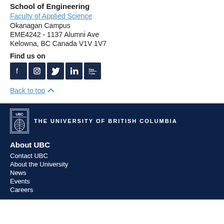School of Engineering
Faculty of Applied Science
Okanagan Campus
EME4242 - 1137 Alumni Ave
Kelowna, BC Canada V1V 1V7
Find us on
[Figure (infographic): Social media icons row: Facebook, Instagram, Twitter, LinkedIn, YouTube — all dark navy square icons with white logos]
Back to top
[Figure (logo): UBC crest logo and text THE UNIVERSITY OF BRITISH COLUMBIA on dark navy background]
About UBC
Contact UBC
About the University
News
Events
Careers